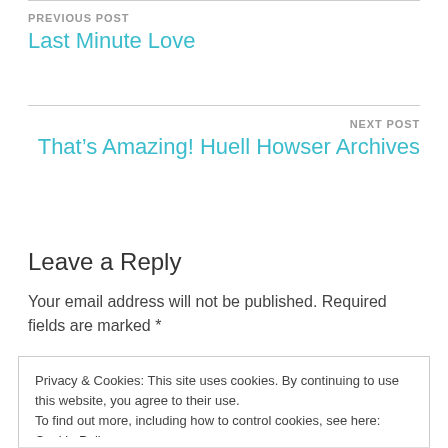PREVIOUS POST
Last Minute Love
NEXT POST
That’s Amazing! Huell Howser Archives
Leave a Reply
Your email address will not be published. Required fields are marked *
Privacy & Cookies: This site uses cookies. By continuing to use this website, you agree to their use.
To find out more, including how to control cookies, see here: Cookie Policy
Close and accept